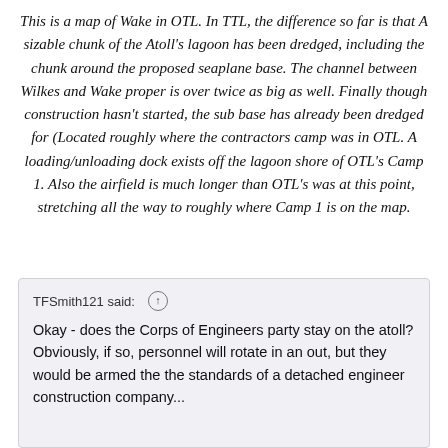This is a map of Wake in OTL. In TTL, the difference so far is that A sizable chunk of the Atoll's lagoon has been dredged, including the chunk around the proposed seaplane base. The channel between Wilkes and Wake proper is over twice as big as well. Finally though construction hasn't started, the sub base has already been dredged for (Located roughly where the contractors camp was in OTL. A loading/unloading dock exists off the lagoon shore of OTL's Camp 1. Also the airfield is much longer than OTL's was at this point, stretching all the way to roughly where Camp 1 is on the map.
TFSmith121 said: Okay - does the Corps of Engineers party stay on the atoll? Obviously, if so, personnel will rotate in an out, but they would be armed the the standards of a detached engineer construction company...